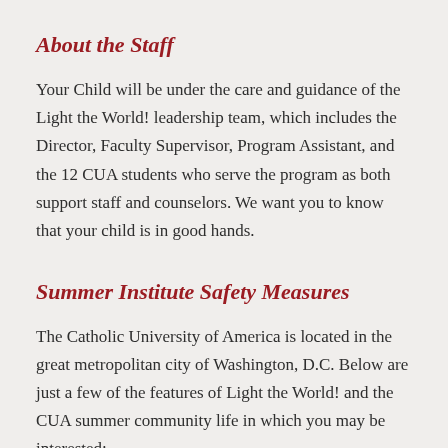About the Staff
Your Child will be under the care and guidance of the Light the World! leadership team, which includes the Director, Faculty Supervisor, Program Assistant, and the 12 CUA students who serve the program as both support staff and counselors. We want you to know that your child is in good hands.
Summer Institute Safety Measures
The Catholic University of America is located in the great metropolitan city of Washington, D.C. Below are just a few of the features of Light the World! and the CUA summer community life in which you may be interested: